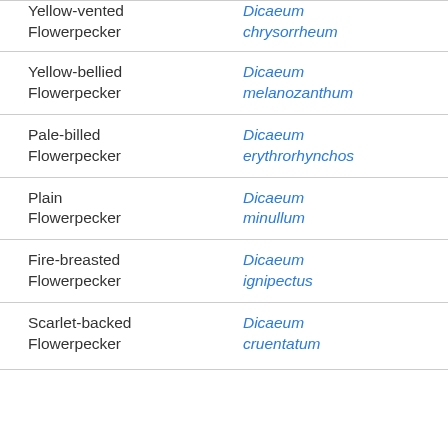| Common Name | Scientific Name |
| --- | --- |
| Yellow-vented Flowerpecker | Dicaeum chrysorrheum |
| Yellow-bellied Flowerpecker | Dicaeum melanozanthum |
| Pale-billed Flowerpecker | Dicaeum erythrorhynchos |
| Plain Flowerpecker | Dicaeum minullum |
| Fire-breasted Flowerpecker | Dicaeum ignipectus |
| Scarlet-backed Flowerpecker | Dicaeum cruentatum |